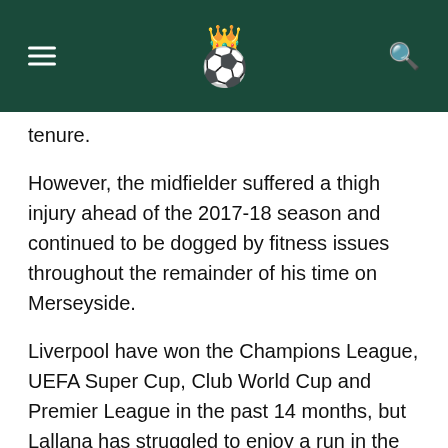[hamburger menu] [soccer ball with crown logo] [search icon]
g ... y ... g ... pp tenure.
However, the midfielder suffered a thigh injury ahead of the 2017-18 season and continued to be dogged by fitness issues throughout the remainder of his time on Merseyside.
Liverpool have won the Champions League, UEFA Super Cup, Club World Cup and Premier League in the past 14 months, but Lallana has struggled to enjoy a run in the team.
He started just nine league matches across the past